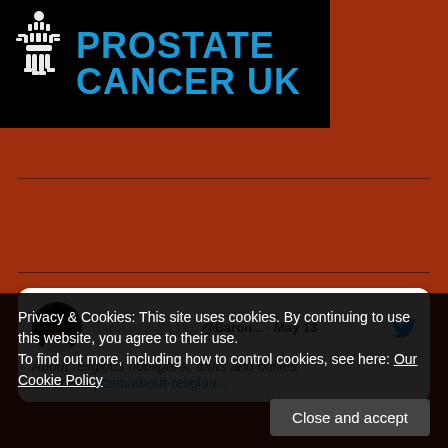[Figure (logo): Prostate Cancer UK logo: black background with a white figure made of people icons on the left and bold blue text reading PROSTATE CANCER UK on the right]
[Figure (screenshot): Tweet by Baroness J's W... @Baron... · May 13 saying 'About religious hooligans, touts and bullies' with link baroness-j.com/about-religiou...]
Privacy & Cookies: This site uses cookies. By continuing to use this website, you agree to their use.
To find out more, including how to control cookies, see here: Our Cookie Policy
Close and accept